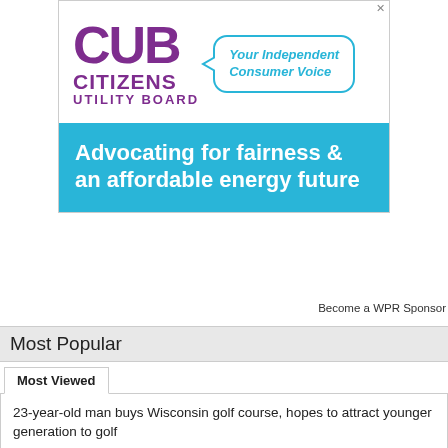[Figure (illustration): CUB Citizens Utility Board advertisement with purple logo text reading 'CUB CITIZENS UTILITY BOARD', a teal speech bubble reading 'Your Independent Consumer Voice', and a teal banner reading 'Advocating for fairness & an affordable energy future']
Become a WPR Sponsor
Most Popular
Most Viewed
23-year-old man buys Wisconsin golf course, hopes to attract younger generation to golf
UW System considering automatic admissions for in-state high school graduates